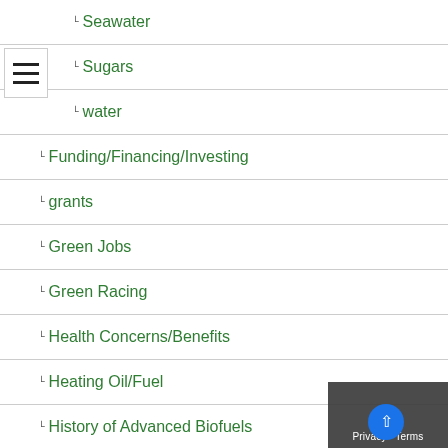Seawater
Sugars
water
Funding/Financing/Investing
grants
Green Jobs
Green Racing
Health Concerns/Benefits
Heating Oil/Fuel
History of Advanced Biofuels
Infrastructure
Aggregation
Biofuels Engine Design
Biorefinery/Fuel Production Infrastructure
Carbon Capture/Storage
certification
Deliver Dispense
Farming/Growing
Precursors/Biointermediates
Pretreatment
Terminals Transport
International